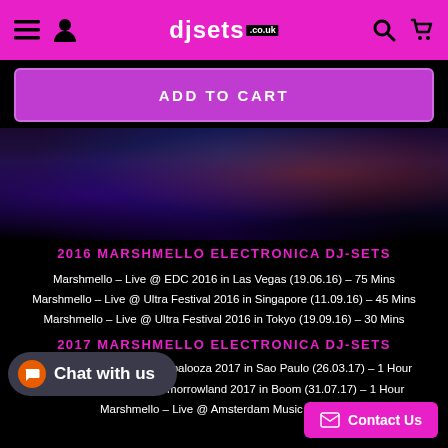djsets.co.uk — navigation header with hamburger menu, user icon, search icon, cart icon
ADD TO CART
[Figure (photo): Concert crowd with hands raised, dark stage lighting with blue and red tones]
2016 MARSHMELLO ELECTRONICA DJ-SETS
Marshmello – Live @ EDC 2016 in Las Vegas (19.06.16) – 75 Mins
Marshmello – Live @ Ultra Festival 2016 in Singapore (11.09.16) – 45 Mins
Marshmello – Live @ Ultra Festival 2016 in Tokyo (19.09.16) – 30 Mins
2017 MARSHMELLO ELECTRONICA DJ-SETS
Marshmello – Live @ Lollapalooza 2017 in Sao Paulo (26.03.17) – 1 Hour
Marshmello – Live @ Tomorrowland 2017 in Boom (31.07.17) – 1 Hour
Marshmello – Live @ Amsterdam Music Festival…